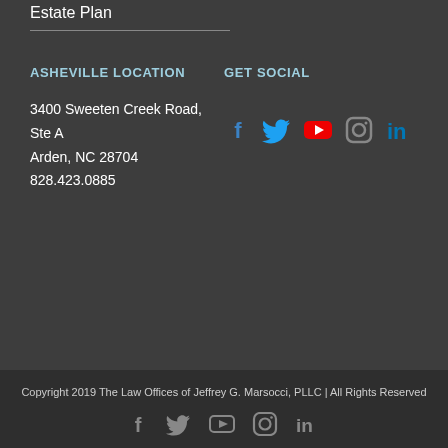Estate Plan
ASHEVILLE LOCATION
GET SOCIAL
3400 Sweeten Creek Road, Ste A
Arden, NC 28704
828.423.0885
[Figure (infographic): Social media icons: Facebook (blue), Twitter (blue), YouTube (red), Instagram (gray outline), LinkedIn (blue)]
Copyright 2019 The Law Offices of Jeffrey G. Marsocci, PLLC | All Rights Reserved
[Figure (infographic): Social media icons in gray: Facebook, Twitter, YouTube, Instagram, LinkedIn]